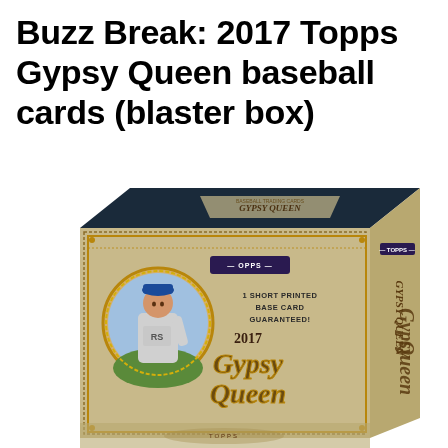Buzz Break: 2017 Topps Gypsy Queen baseball cards (blaster box)
[Figure (photo): 2017 Topps Gypsy Queen baseball card blaster box product photo. The box has a vintage/antique tan and dark navy design with gold ornate lettering reading 'Gypsy Queen' and '2017'. A circular portrait of a baseball player in a gray uniform and blue cap is visible on the front left. The TOPPS logo appears on the box. Text on the box reads '1 SHORT PRINTED BASE CARD GUARANTEED!'. The side of the box also shows Gypsy Queen branding.]